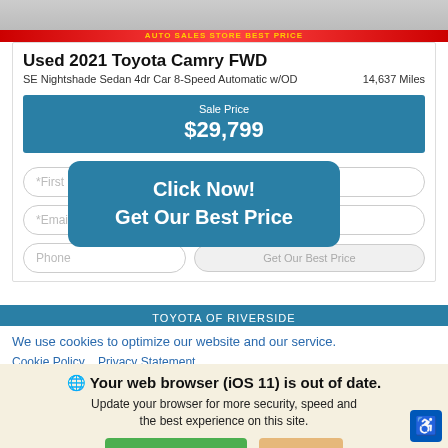[Figure (photo): Top portion of a car image (Toyota Camry), partially visible with a red banner below]
Used 2021 Toyota Camry FWD
SE Nightshade Sedan 4dr Car 8-Speed Automatic w/OD    14,637 Miles
Sale Price
$29,799
Click Now!
Get Our Best Price
TOYOTA OF RIVERSIDE
We use cookies to optimize our website and our service.
Cookie Policy   Privacy Statement
Your web browser (iOS 11) is out of date.
Update your browser for more security, speed and the best experience on this site.
Update browser   Ignore